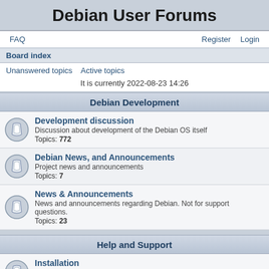Debian User Forums
FAQ   Register   Login
Board index
Unanswered topics   Active topics
It is currently 2022-08-23 14:26
Debian Development
Development discussion
Discussion about development of the Debian OS itself
Topics: 772
Debian News, and Announcements
Project news and announcements
Topics: 7
News & Announcements
News and announcements regarding Debian. Not for support questions.
Topics: 23
Help and Support
Installation
Help with issues regarding installation of Debian
Topics: 11241
Beginners Questions
New to Debian (Or Linux in general)? Ask your questions here!
Topics: 9259
General Questions